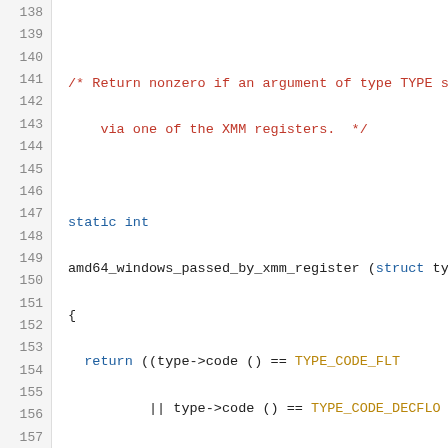[Figure (screenshot): Source code listing in C showing functions amd64_windows_passed_by_xmm_register and amd64_windows_passed_by_pointer, lines 138-159]